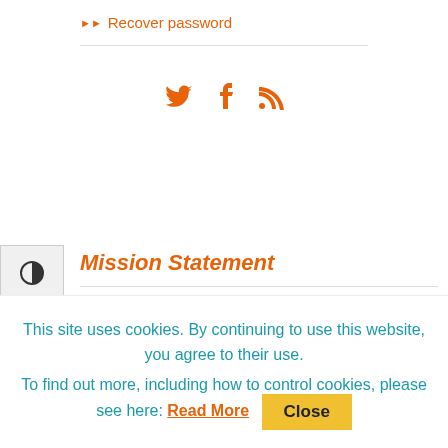▶▶ Recover password
Social icons: Twitter, Facebook, RSS
Mission Statement
From the Mixed-Up Files is the group blog of middle-grade authors celebrating books for
This site uses cookies. By continuing to use this website, you agree to their use. To find out more, including how to control cookies, please see here: Read More [Close]